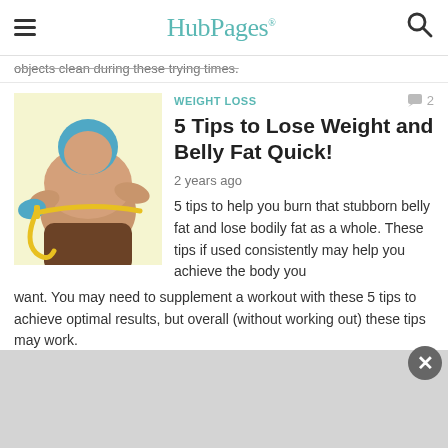HubPages
objects clean during these trying times.
WEIGHT LOSS
5 Tips to Lose Weight and Belly Fat Quick!
2 years ago
[Figure (illustration): Illustration of a person measuring their waist with a yellow tape measure, shown from the side. The figure has blue hair and is wearing brown pants.]
5 tips to help you burn that stubborn belly fat and lose bodily fat as a whole. These tips if used consistently may help you achieve the body you want. You may need to supplement a workout with these 5 tips to achieve optimal results, but overall (without working out) these tips may work.